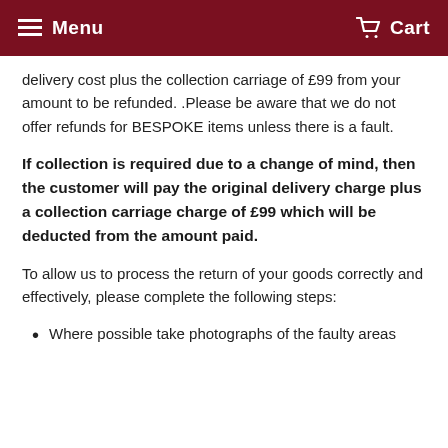Menu   Cart
delivery cost plus the collection carriage of £99 from your amount to be refunded. .Please be aware that we do not offer refunds for BESPOKE items unless there is a fault.
If collection is required due to a change of mind, then the customer will pay the original delivery charge plus a collection carriage charge of £99 which will be deducted from the amount paid.
To allow us to process the return of your goods correctly and effectively, please complete the following steps:
Where possible take photographs of the faulty areas